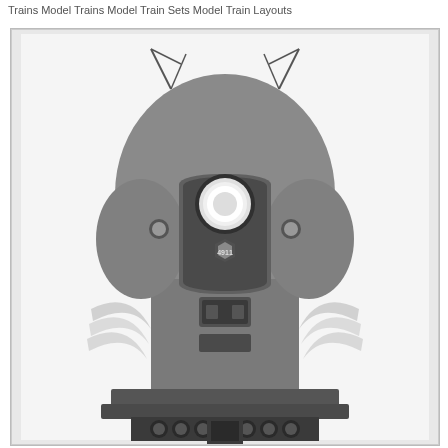Trains Model Trains Model Train Sets Model Train Layouts
[Figure (photo): Black and white front-facing photograph of a streamlined Pennsylvania Railroad steam locomotive (number 4911), showing the distinctive rounded nose, central headlight, PRR keystone logo, decorative speed stripes on the sides, and the front coupler/pilot truck at the bottom.]